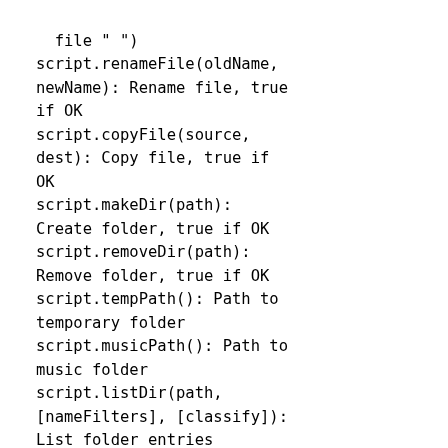file " ")
script.renameFile(oldName,
newName): Rename file, true
if OK
script.copyFile(source,
dest): Copy file, true if
OK
script.makeDir(path):
Create folder, true if OK
script.removeDir(path):
Remove folder, true if OK
script.tempPath(): Path to
temporary folder
script.musicPath(): Path to
music folder
script.listDir(path,
[nameFilters], [classify]):
List folder entries
script.system(program,
[args], [msecs]):
Synchronously start a